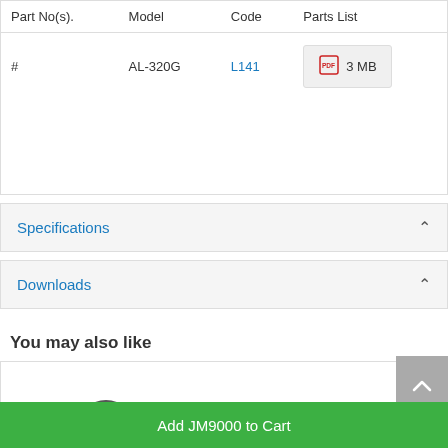| Part No(s). | Model | Code | Parts List |
| --- | --- | --- | --- |
| # | AL-320G | L141 | 3 MB |
Specifications
Downloads
You may also like
[Figure (photo): Small black metal mechanical fitting/chuck component]
Add JM9000 to Cart